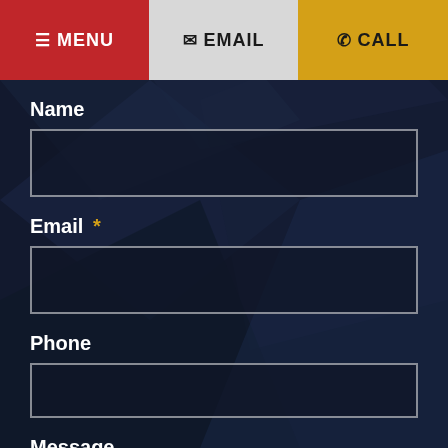MENU | EMAIL | CALL
Name
Email *
Phone
Message